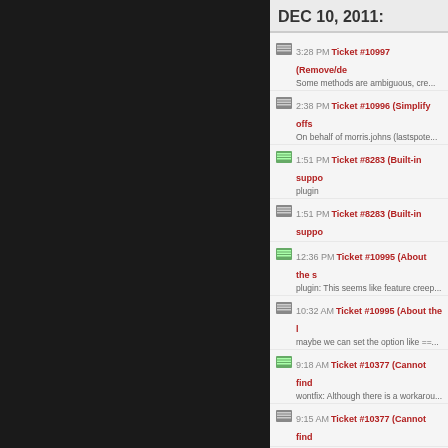DEC 10, 2011:
3:28 PM Ticket #10997 (Remove/de... Some methods are ambiguous, cre...
2:38 PM Ticket #10996 (Simplify offs... On behalf of morris.johns (lastspote...
1:51 PM Ticket #8283 (Built-in suppo... plugin
1:51 PM Ticket #8283 (Built-in suppo...
12:36 PM Ticket #10995 (About the s... plugin: This seems like feature creep...
10:32 AM Ticket #10995 (About the l... maybe we can set the option like ==...
9:18 AM Ticket #10377 (Cannot find... wontfix: Although there is a workarou...
9:15 AM Ticket #10377 (Cannot find...
9:11 AM Ticket #10994 (Extend the t... duplicate
8:17 AM Ticket #10994 (Extend the t... I'm writing here because there are s...
3:02 AM Ticket #10872 ($(<selector>... invalid: Because we get so many tici...
DEC 9, 2011:
11:01 PM Ticket #10993 (Css borde... I tried to get 'border-top-width from...